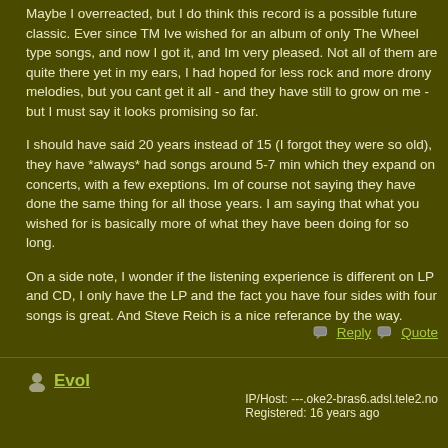Maybe I overreacted, but I do think this record is a possible future classic. Ever since TM Ive wished for an album of only The Wheel type songs, and now I got it, and Im very pleased. Not all of them are quite there yet in my ears, I had hoped for less rock and more drony melodies, but you cant get it all - and they have still to grow on me - but I must say it looks promising so far.
I should have said 20 years instead of 15 (I forgot they were so old), they have *always* had songs around 5-7 min which they expand on concerts, with a few exeptions. Im of course not saying they have done the same thing for all those years. I am saying that what you wished for is basically more of what they have been doing for so long.
On a side note, I wonder if the listening experience is different on LP and CD, I only have the LP and the fact you have four sides with four songs is great. And Steve Reich is a nice referance by the way.
Evol
IP/Host: ---.oke2-bras6.adsl.tele2.no
Registered: 16 years ago